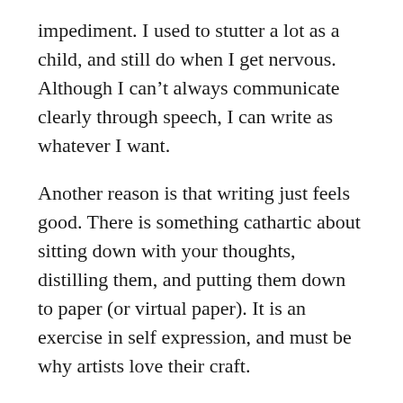impediment. I used to stutter a lot as a child, and still do when I get nervous. Although I can't always communicate clearly through speech, I can write as whatever I want.
Another reason is that writing just feels good. There is something cathartic about sitting down with your thoughts, distilling them, and putting them down to paper (or virtual paper). It is an exercise in self expression, and must be why artists love their craft.
That said, I not a good writer. And I am definitely a slow writer.
There is a reason that I rarely blog. It usually takes me a few days (sometimes up to a week) to get any post to the point where it feels publishable. And even